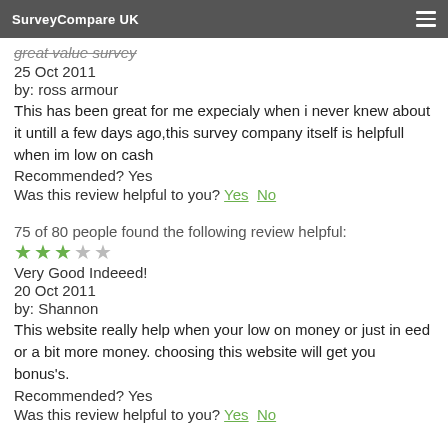SurveyCompare UK
great value survey
25 Oct 2011
by: ross armour
This has been great for me expecialy when i never knew about it untill a few days ago,this survey company itself is helpfull when im low on cash
Recommended? Yes
Was this review helpful to you? Yes  No
75 of 80 people found the following review helpful:
[Figure (other): 3 out of 5 stars rating — 3 green filled stars and 2 grey empty stars]
Very Good Indeeed!
20 Oct 2011
by: Shannon
This website really help when your low on money or just in eed or a bit more money. choosing this website will get you bonus's.
Recommended? Yes
Was this review helpful to you? Yes  No